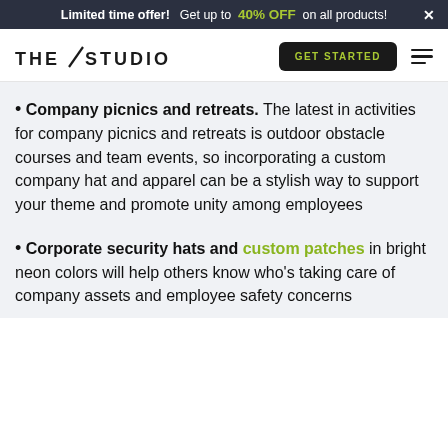Limited time offer! Get up to 40% OFF on all products! ×
THE STUDIO | GET STARTED
Company picnics and retreats. The latest in activities for company picnics and retreats is outdoor obstacle courses and team events, so incorporating a custom company hat and apparel can be a stylish way to support your theme and promote unity among employees
Corporate security hats and custom patches in bright neon colors will help others know who's taking care of company assets and employee safety concerns